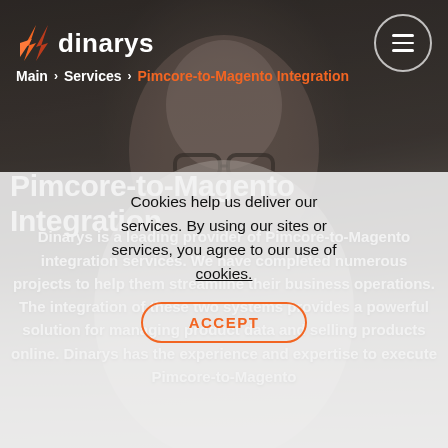[Figure (photo): Background photo of a man with glasses looking down, dark professional setting]
dinarys
Main > Services > Pimcore-to-Magento Integration
Pimcore-to-Magento Integration
Dinarys is a leading provider of Pimcore-to-Magento integration services. We have completed numerous projects to help them streamline their business operations. The integration of these two systems provides a powerful solution for managing product data and selling products online. Dinarys has the experience and expertise to execute Pimcore-to-Magento
Cookies help us deliver our services. By using our sites or services, you agree to our use of cookies.
ACCEPT